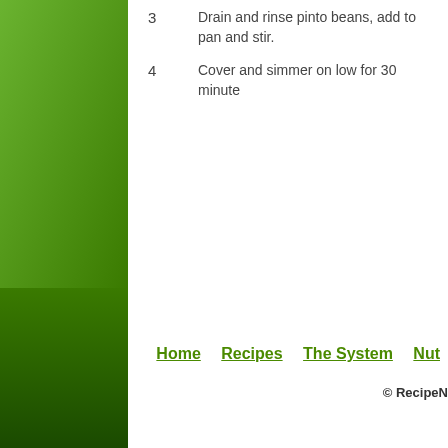3   Drain and rinse pinto beans, add to pan and stir.
4   Cover and simmer on low for 30 minute
Home   Recipes   The System   Nut
© RecipeN